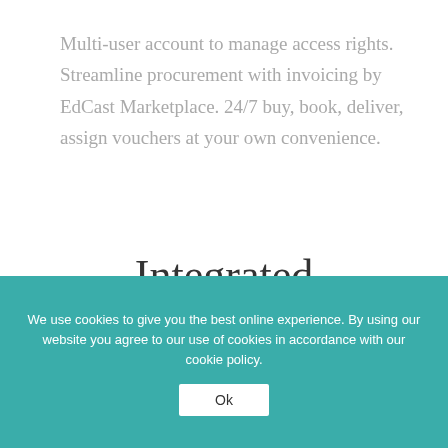Multi-user account to manage access rights. Streamline procurement with invoicing by EdCast Marketplace. 24/7 buy, book, deliver, assign vouchers at your own convenience.
Integrated Learning Delivery
We use cookies to give you the best online experience. By using our website you agree to our use of cookies in accordance with our cookie policy.